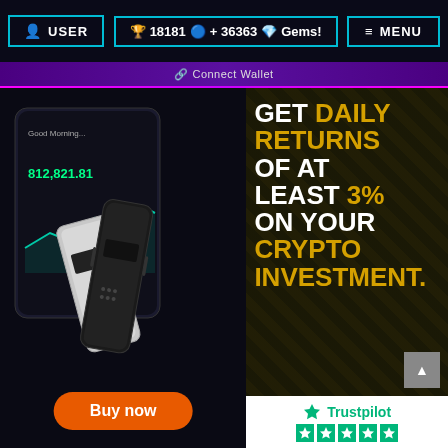USER  |  18181 + 36363 Gems!  |  MENU
Connect Wallet
[Figure (photo): Ledger hardware cryptocurrency wallet (silver and black) displayed alongside a smartphone showing a crypto trading app with the value 812,821.81]
GET DAILY RETURNS OF AT LEAST 3% ON YOUR CRYPTO INVESTMENT.
Buy now
[Figure (logo): Trustpilot logo with green star rating (5 stars shown)]